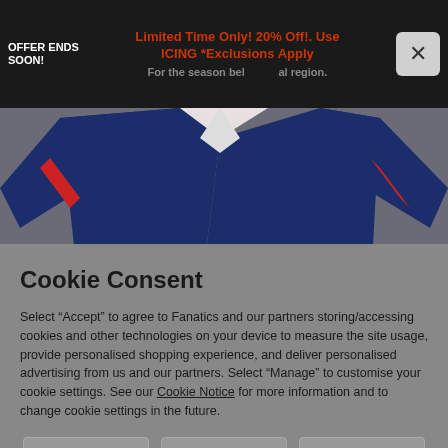OFFER ENDS SOON! Limited Time Only! 20% Off!. Use ICING *Exclusions Apply For the season below al region. [X close]
[Figure (photo): Close-up photo of navy blue sports jerseys/clothing with red and white accents, displayed on a grey background]
Cookie Consent
Select “Accept” to agree to Fanatics and our partners storing/accessing cookies and other technologies on your device to measure the site usage, provide personalised shopping experience, and deliver personalised advertising from us and our partners. Select “Manage” to customise your cookie settings. See our Cookie Notice for more information and to change cookie settings in the future.
Reject | Manage | Accept